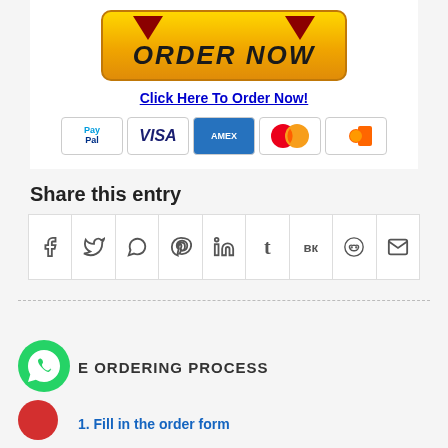[Figure (other): ORDER NOW button with yellow/gold gradient background and red downward arrows, with PayPal, VISA, AMEX, MasterCard, and Discover payment icons below]
Click Here To Order Now!
Share this entry
[Figure (infographic): Row of social sharing icon buttons: Facebook, Twitter, WhatsApp, Pinterest, LinkedIn, Tumblr, VK, Reddit, Email]
[Figure (logo): WhatsApp green phone icon logo]
E ORDERING PROCESS
1. Fill in the order form